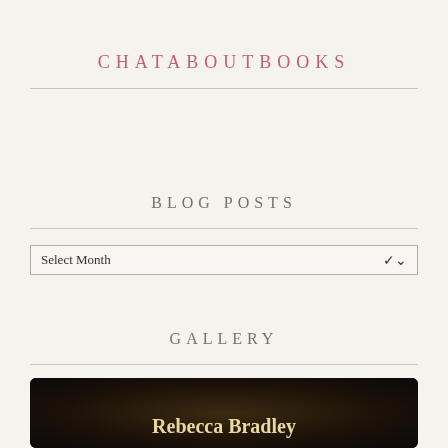CHATABOUTBOOKS
BLOG POSTS
Select Month
GALLERY
[Figure (photo): Book cover image showing 'Rebecca Bradley' text on dark background]